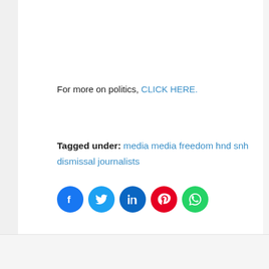For more on politics, CLICK HERE.
Tagged under: media  media freedom  hnd  snh  dismissal  journalists
[Figure (infographic): Social media sharing icons: Facebook (blue), Twitter (light blue), LinkedIn (dark blue), Pinterest (red), WhatsApp (green)]